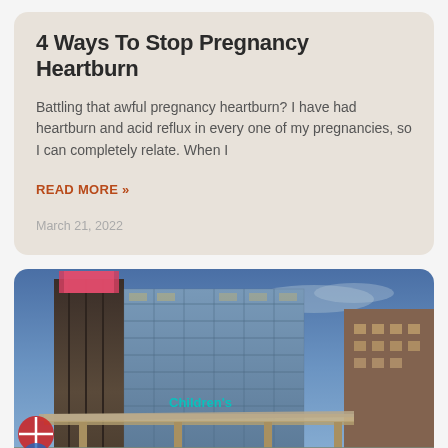4 Ways To Stop Pregnancy Heartburn
Battling that awful pregnancy heartburn? I have had heartburn and acid reflux in every one of my pregnancies, so I can completely relate. When I
READ MORE »
March 21, 2022
[Figure (photo): Exterior photograph of a modern hospital building (Children's hospital) at dusk with glass facade, illuminated signage, and entrance canopy against a blue twilight sky.]